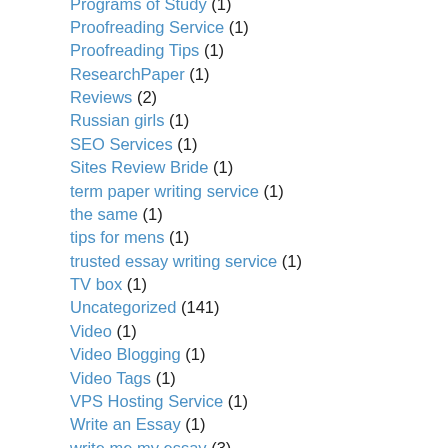Programs of Study (1)
Proofreading Service (1)
Proofreading Tips (1)
ResearchPaper (1)
Reviews (2)
Russian girls (1)
SEO Services (1)
Sites Review Bride (1)
term paper writing service (1)
the same (1)
tips for mens (1)
trusted essay writing service (1)
TV box (1)
Uncategorized (141)
Video (1)
Video Blogging (1)
Video Tags (1)
VPS Hosting Service (1)
Write an Essay (1)
write me my essay (3)
Write My Essay For Me US (1)
WriteEdu (3)
WriteMyEssays2018 (2)
Writer (1)
Writers (1)
Writers Tips (1)
Writing (14)
Writing Help (1)
Writing Papers (1)